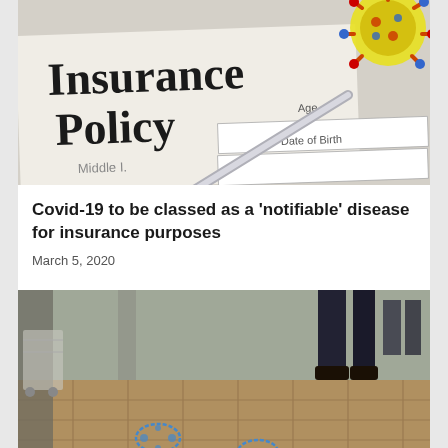[Figure (photo): Insurance policy document with a pen resting on it and a coronavirus particle in the upper right corner. The form shows fields for Middle (name), Age, and Date of Birth.]
Covid-19 to be classed as a 'notifiable' disease for insurance purposes
March 5, 2020
[Figure (photo): A corridor or public space floor with social distancing markers (blue circular footprint stickers). People's legs and feet visible in background, wearing dark trousers and shoes.]